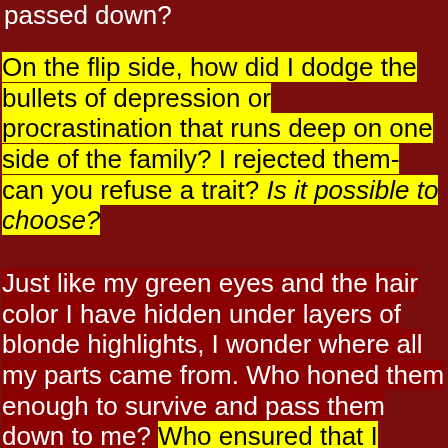passed down?
On the flip side, how did I dodge the bullets of depression or procrastination that runs deep on one side of the family? I rejected them- can you refuse a trait? Is it possible to choose?
Just like my green eyes and the hair color I have hidden under layers of blonde highlights, I wonder where all my parts came from. Who honed them enough to survive and pass them down to me? Who ensured that I could dance through the raindrops and come back with each punch of adversity? Other than the